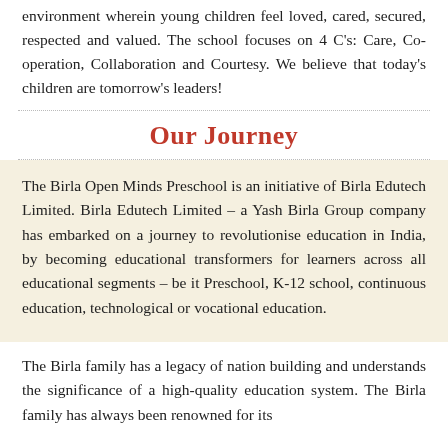environment wherein young children feel loved, cared, secured, respected and valued. The school focuses on 4 C's: Care, Co-operation, Collaboration and Courtesy. We believe that today's children are tomorrow's leaders!
Our Journey
The Birla Open Minds Preschool is an initiative of Birla Edutech Limited. Birla Edutech Limited – a Yash Birla Group company has embarked on a journey to revolutionise education in India, by becoming educational transformers for learners across all educational segments – be it Preschool, K-12 school, continuous education, technological or vocational education.
The Birla family has a legacy of nation building and understands the significance of a high-quality education system. The Birla family has always been renowned for its